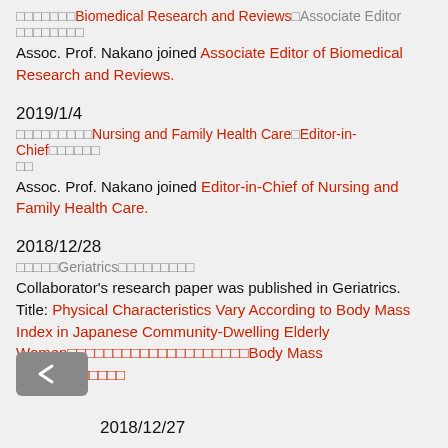□□□□□□□Biomedical Research and Reviews□Associate Editor□□□□□□□□
Assoc. Prof. Nakano joined Associate Editor of Biomedical Research and Reviews.
2019/1/4
□□□□□□□□□Nursing and Family Health Care□Editor-in-Chief□□□□□□□
Assoc. Prof. Nakano joined Editor-in-Chief of Nursing and Family Health Care.
2018/12/28
□□□□□Geriatrics□□□□□□□□□
Collaborator's research paper was published in Geriatrics. Title: Physical Characteristics Vary According to Body Mass Index in Japanese Community-Dwelling Elderly Women□□□□□□□□□□□□□□□□□□□□Body Mass Index□□□□□□□□
2018/12/27